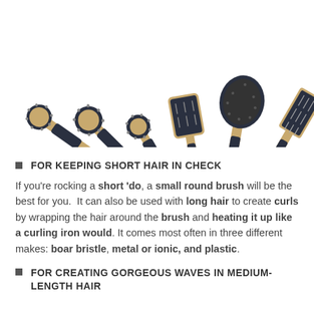[Figure (photo): Seven hair brushes with bamboo/wood handles and black grips arranged in a fan pattern on a white background. Brush types include round barrel brushes, a paddle brush, and a pin brush.]
FOR KEEPING SHORT HAIR IN CHECK
If you're rocking a short 'do, a small round brush will be the best for you. It can also be used with long hair to create curls by wrapping the hair around the brush and heating it up like a curling iron would. It comes most often in three different makes: boar bristle, metal or ionic, and plastic.
FOR CREATING GORGEOUS WAVES IN MEDIUM-LENGTH HAIR